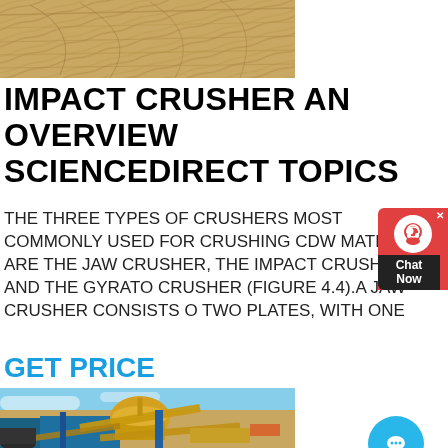[Figure (photo): Aerial/overhead photo of sandy agricultural or desert terrain with curved tractor lines/tracks]
IMPACT CRUSHER AN OVERVIEW SCIENCEDIRECT TOPICS
THE THREE TYPES OF CRUSHERS MOST COMMONLY USED FOR CRUSHING CDW MATERIALS ARE THE JAW CRUSHER, THE IMPACT CRUSHER AND THE GYRATORY CRUSHER (FIGURE 4.4).A JAW CRUSHER CONSISTS OF TWO PLATES, WITH ONE
GET PRICE
[Figure (photo): Industrial photo of a large yellow and blue crusher/mining machine at a construction or quarry site]
[Figure (other): Chat support widget with red background, person icon, and 'Chat Now' label, plus a separate blue chat bubble button]